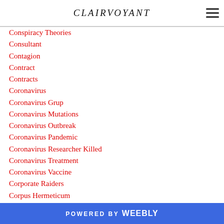CLAIRVOYANT
Conspiracy Theories
Consultant
Contagion
Contract
Contracts
Coronavirus
Coronavirus Grup
Coronavirus Mutations
Coronavirus Outbreak
Coronavirus Pandemic
Coronavirus Researcher Killed
Coronavirus Treatment
Coronavirus Vaccine
Corporate Raiders
Corpus Hermeticum
POWERED BY weebly